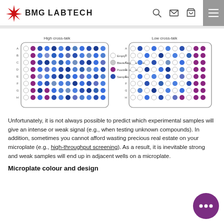BMG LABTECH
[Figure (illustration): Two microplate diagrams side by side. Left plate labeled 'High cross-talk' shows wells arranged with purple positive control column, empty wells column, and blue sample wells. Right plate labeled 'Low cross-talk' shows a different layout with empty wells interspersed with blue and purple wells. Legend shows: Empty (white circle), Blank/Negative control (light grey circle), Positive control (purple circle), Samples (blue circle).]
Unfortunately, it is not always possible to predict which experimental samples will give an intense or weak signal (e.g., when testing unknown compounds). In addition, sometimes you cannot afford wasting precious real estate on your microplate (e.g., high-throughput screening). As a result, it is inevitable strong and weak samples will end up in adjacent wells on a microplate.
Microplate colour and design